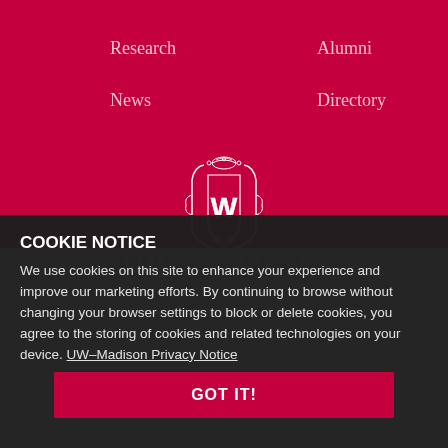Research
Alumni
News
Directory
[Figure (logo): University of Wisconsin crest/shield logo with W, and WISCONSIN wordmark below]
COOKIE NOTICE
We use cookies on this site to enhance your experience and improve our marketing efforts. By continuing to browse without changing your browser settings to block or delete cookies, you agree to the storing of cookies and related technologies on your device. UW–Madison Privacy Notice
GOT IT!